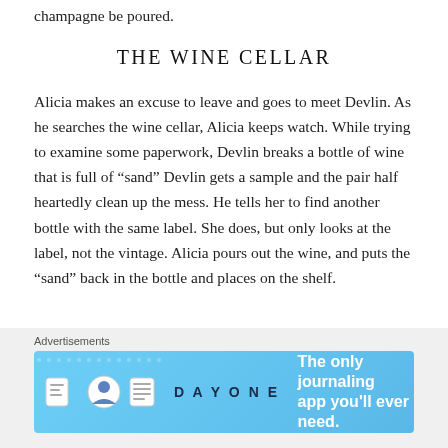champagne be poured.
THE WINE CELLAR
Alicia makes an excuse to leave and goes to meet Devlin. As he searches the wine cellar, Alicia keeps watch. While trying to examine some paperwork, Devlin breaks a bottle of wine that is full of “sand” Devlin gets a sample and the pair half heartedly clean up the mess. He tells her to find another bottle with the same label. She does, but only looks at the label, not the vintage. Alicia pours out the wine, and puts the “sand” back in the bottle and places on the shelf.
Advertisements
[Figure (screenshot): Advertisement banner for DAY ONE journaling app with blue background, app icons, and tagline 'The only journaling app you'll ever need.']